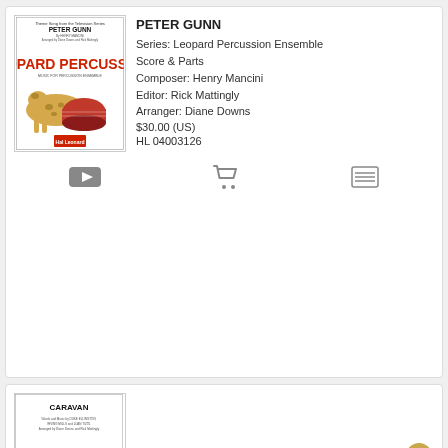[Figure (illustration): Book cover for Peter Gunn - Leopard Percussion series showing a leopard with a drum, red title text 'LEOPARD PERCUSSION', Hal Leonard publisher logo]
PETER GUNN
Series: Leopard Percussion Ensemble
Score & Parts
Composer: Henry Mancini
Editor: Rick Mattingly
Arranger: Diane Downs
$30.00 (US)
HL 04003126
[Figure (illustration): Book cover for Caravan, partially visible at bottom of page]